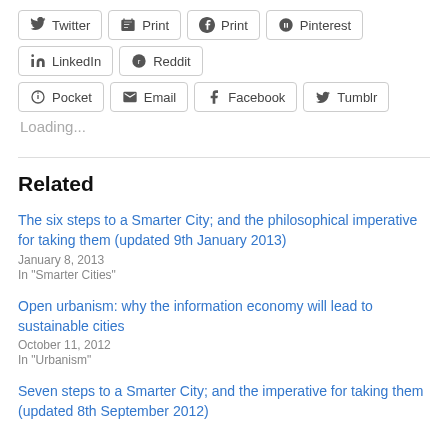[Figure (other): Social share buttons row 1: Twitter, Print, Pinterest, LinkedIn, Reddit]
[Figure (other): Social share buttons row 2: Pocket, Email, Facebook, Tumblr]
Loading...
Related
The six steps to a Smarter City; and the philosophical imperative for taking them (updated 9th January 2013)
January 8, 2013
In "Smarter Cities"
Open urbanism: why the information economy will lead to sustainable cities
October 11, 2012
In "Urbanism"
Seven steps to a Smarter City; and the imperative for taking them (updated 8th September 2012)